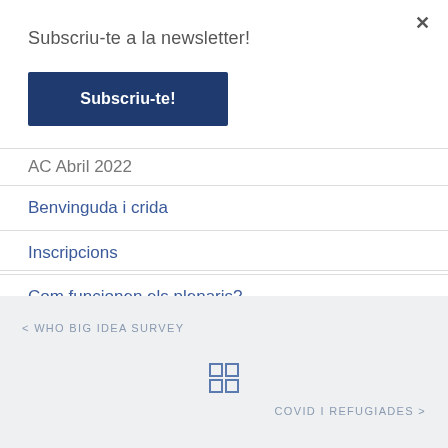Subscriu-te a la newsletter!
Subscriu-te!
AC Abril 2022
Benvinguda i crida
Inscripcions
Com funcionen els plenaris?
< WHO BIG IDEA SURVEY
COVID I REFUGIADES >